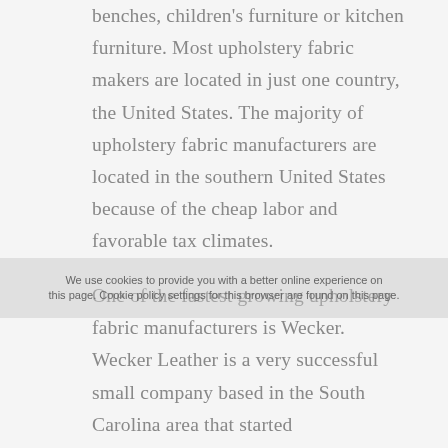benches, children's furniture or kitchen furniture. Most upholstery fabric makers are located in just one country, the United States. The majority of upholstery fabric manufacturers are located in the southern United States because of the cheap labor and favorable tax climates.
One of the fastest growing upholstery fabric manufacturers is Wecker. Wecker Leather is a very successful small company based in the South Carolina area that started manufacturing and selling leather products almost 15 years ago. Wecker